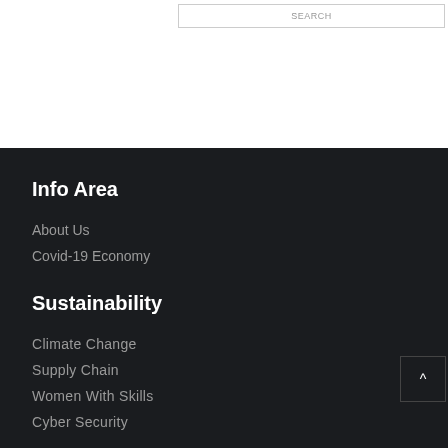[Figure (screenshot): Top white section with pink/red bottom border and a search bar element partially visible]
Info Area
About Us
Covid-19 Economy
Sustainability
Climate Change
Supply Chain
Women With Skills
Cyber Security